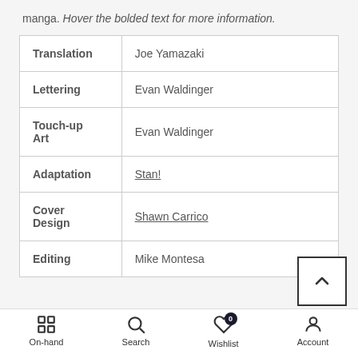manga. Hover the bolded text for more information.
| Role | Name |
| --- | --- |
| Translation | Joe Yamazaki |
| Lettering | Evan Waldinger |
| Touch-up Art | Evan Waldinger |
| Adaptation | Stan! |
| Cover Design | Shawn Carrico |
| Editing | Mike Montesa |
On-hand  Search  Wishlist  Account